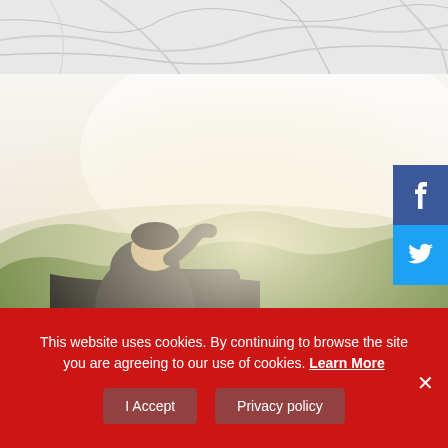[Figure (map): Top portion of a road map showing roads and paths on a light gray background]
[Figure (photo): Person seen from behind sitting in an open vehicle looking out over a misty forest landscape]
[Figure (other): Facebook share button - blue square with Facebook logo icon]
[Figure (other): Twitter share button - cyan square with Twitter bird icon]
This website uses cookies. By continuing to browse the site you are agreeing to our use of cookies. Learn More
I Accept
Privacy policy